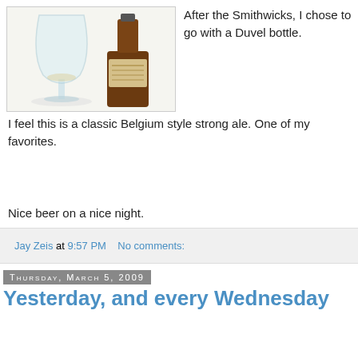[Figure (photo): A beer glass and a dark Duvel bottle on a white background]
After the Smithwicks, I chose to go with a Duvel bottle. I feel this is a classic Belgium style strong ale. One of my favorites.
Nice beer on a nice night.
Jay Zeis at 9:57 PM    No comments:
Thursday, March 5, 2009
Yesterday, and every Wednesday